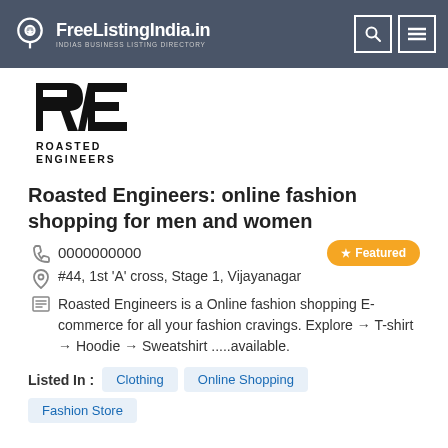FreeListingIndia.in — INDIAS BUSINESS LISTING DIRECTORY
[Figure (logo): Roasted Engineers brand logo with RE initials and text ROASTED ENGINEERS]
Roasted Engineers: online fashion shopping for men and women
0000000000
#44, 1st 'A' cross, Stage 1, Vijayanagar
Roasted Engineers is a Online fashion shopping E-commerce for all your fashion cravings. Explore → T-shirt → Hoodie → Sweatshirt .....available.
Listed In : Clothing  Online Shopping  Fashion Store